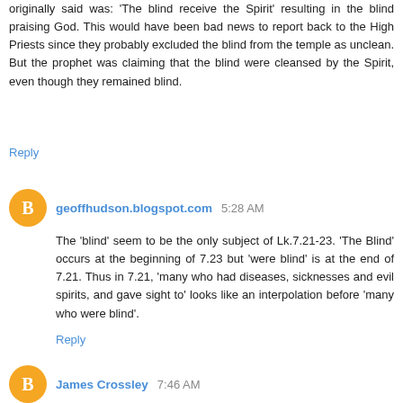originally said was: 'The blind receive the Spirit' resulting in the blind praising God. This would have been bad news to report back to the High Priests since they probably excluded the blind from the temple as unclean. But the prophet was claiming that the blind were cleansed by the Spirit, even though they remained blind.
Reply
geoffhudson.blogspot.com 5:28 AM
The 'blind' seem to be the only subject of Lk.7.21-23. 'The Blind' occurs at the beginning of 7.23 but 'were blind' is at the end of 7.21. Thus in 7.21, 'many who had diseases, sicknesses and evil spirits, and gave sight to' looks like an interpolation before 'many who were blind'.
Reply
James Crossley 7:46 AM
Is 'his anointed' enough to speak of a title 'THE Messiah'? And let's not forget that the gospel texts do not use the